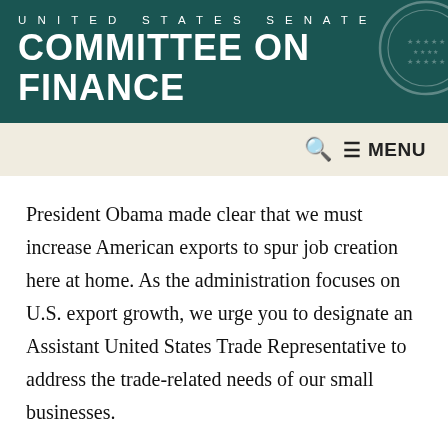UNITED STATES SENATE COMMITTEE ON FINANCE
President Obama made clear that we must increase American exports to spur job creation here at home. As the administration focuses on U.S. export growth, we urge you to designate an Assistant United States Trade Representative to address the trade-related needs of our small businesses.
Small businesses are the backbone of the U.S. economy. Montana and Maine alone have more than 260,000 small